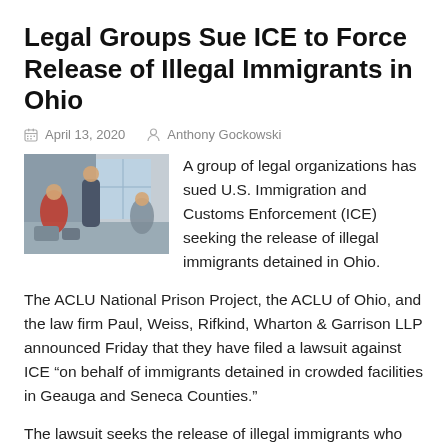Legal Groups Sue ICE to Force Release of Illegal Immigrants in Ohio
April 13, 2020   Anthony Gockowski
A group of legal organizations has sued U.S. Immigration and Customs Enforcement (ICE) seeking the release of illegal immigrants detained in Ohio.
The ACLU National Prison Project, the ACLU of Ohio, and the law firm Paul, Weiss, Rifkind, Wharton & Garrison LLP announced Friday that they have filed a lawsuit against ICE “on behalf of immigrants detained in crowded facilities in Geauga and Seneca Counties.”
The lawsuit seeks the release of illegal immigrants who are in civil detention and at high risk of serious illness or death in the event that they contract COVID-19.